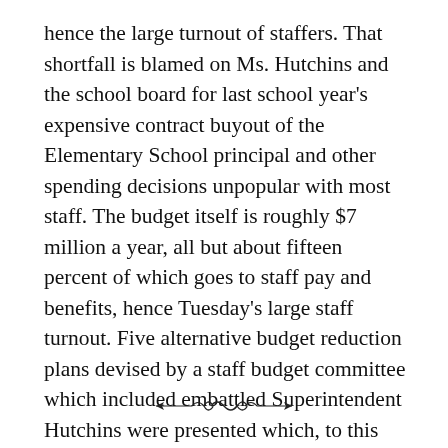hence the large turnout of staffers. That shortfall is blamed on Ms. Hutchins and the school board for last school year's expensive contract buyout of the Elementary School principal and other spending decisions unpopular with most staff. The budget itself is roughly $7 million a year, all but about fifteen percent of which goes to staff pay and benefits, hence Tuesday's large staff turnout. Five alternative budget reduction plans devised by a staff budget committee which included embattled Superintendent Hutchins were presented which, to this outsider, seemed clear and fairly drawn, but none of the five will leave certain staff sectors unaffected. Nothing was resolved at Tuesday's meeting because, it seems, the numbers themselves are in flux, and likely to remain in flux for a while.
[Figure (illustration): Decorative ornamental divider with scroll/flourish design]